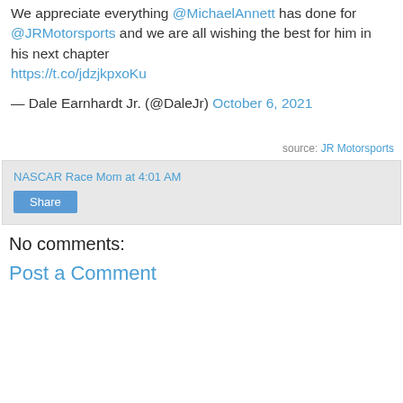We appreciate everything @MichaelAnnett has done for @JRMotorsports and we are all wishing the best for him in his next chapter https://t.co/jdzjkpxoKu
— Dale Earnhardt Jr. (@DaleJr) October 6, 2021
source: JR Motorsports
NASCAR Race Mom at 4:01 AM
Share
No comments:
Post a Comment